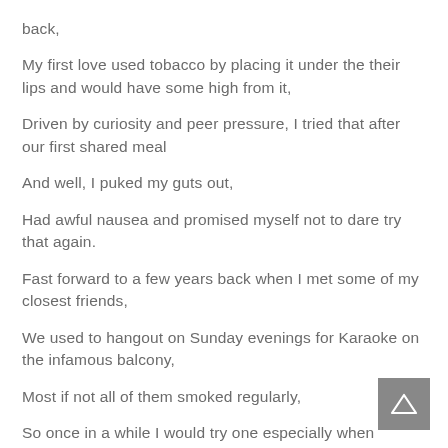back,
My first love used tobacco by placing it under the their lips and would have some high from it,
Driven by curiosity and peer pressure, I tried that after our first shared meal
And well, I puked my guts out,
Had awful nausea and promised myself not to dare try that again.
Fast forward to a few years back when I met some of my closest friends,
We used to hangout on Sunday evenings for Karaoke on the infamous balcony,
Most if not all of them smoked regularly,
So once in a while I would try one especially when